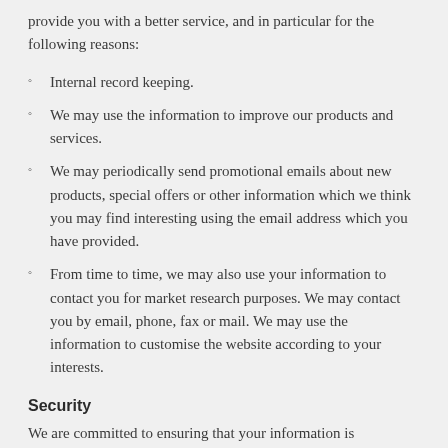provide you with a better service, and in particular for the following reasons:
Internal record keeping.
We may use the information to improve our products and services.
We may periodically send promotional emails about new products, special offers or other information which we think you may find interesting using the email address which you have provided.
From time to time, we may also use your information to contact you for market research purposes. We may contact you by email, phone, fax or mail. We may use the information to customise the website according to your interests.
Security
We are committed to ensuring that your information is